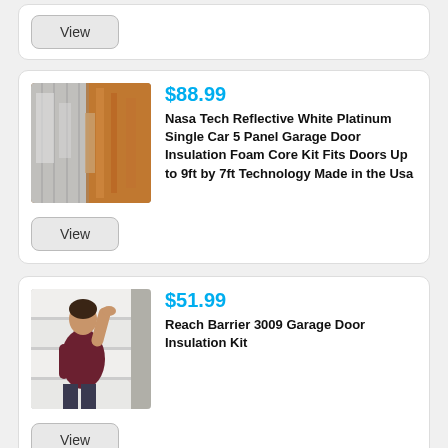[Figure (other): Top card partial with View button only]
[Figure (photo): Reflective foam insulation material product image]
$88.99
Nasa Tech Reflective White Platinum Single Car 5 Panel Garage Door Insulation Foam Core Kit Fits Doors Up to 9ft by 7ft Technology Made in the Usa
[Figure (photo): Man in dark shirt installing or examining white garage door panels]
$51.99
Reach Barrier 3009 Garage Door Insulation Kit